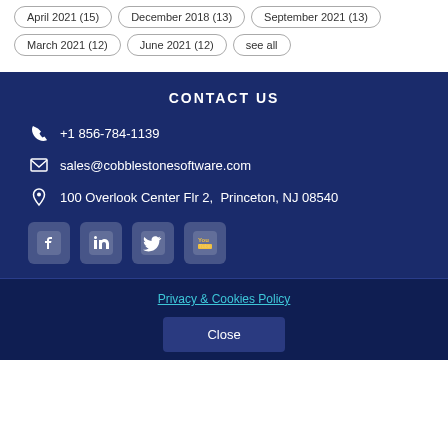April 2021 (15)
December 2018 (13)
September 2021 (13)
March 2021 (12)
June 2021 (12)
see all
CONTACT US
+1 856-784-1139
sales@cobblestonesoftware.com
100 Overlook Center Flr 2,  Princeton, NJ 08540
[Figure (other): Social media icons: Facebook, LinkedIn, Twitter, YouTube]
Privacy & Cookies Policy
Close